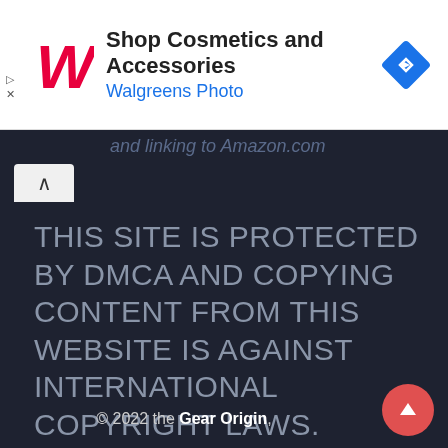[Figure (screenshot): Walgreens advertisement banner with Walgreens logo, text 'Shop Cosmetics and Accessories / Walgreens Photo', and a blue diamond navigation arrow icon]
and linking to Amazon.com
THIS SITE IS PROTECTED BY DMCA AND COPYING CONTENT FROM THIS WEBSITE IS AGAINST INTERNATIONAL COPYRIGHT LAWS.
[Figure (logo): DMCA PROTECTED badge with green circle lock icon and green DMCA label]
© 2022 the Gear Origin,